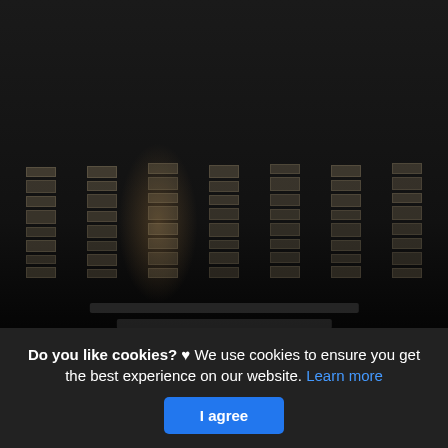[Figure (screenshot): Dark screenshot of what appears to be a game tier list or ranking chart with multiple bar columns showing character/hero rankings against a dark background with brownish overlay elements. Bottom shows social media share bar icons.]
The Meta Tier List Public Rankings (Very High Elo
This is actually a short article or even picture around the The Meta Tier List Public Rankings (Very High Elo Worldwide, if you desire much a lot extra info approximately the write-up or even picture feel free to hit or even check out the complying with web link or even web link .
Do you like cookies? ♥ We use cookies to ensure you get the best experience on our website. Learn more
I agree